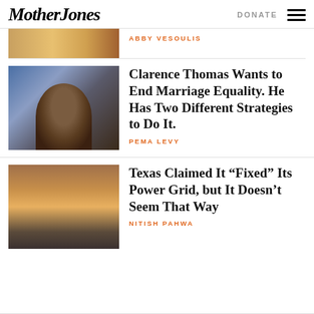Mother Jones — DONATE
[Figure (photo): Partial thumbnail of an article image, appears orange/warm toned]
ABBY VESOULIS
[Figure (photo): Photo of Clarence Thomas, a Black man wearing glasses, in front of a blue background]
Clarence Thomas Wants to End Marriage Equality. He Has Two Different Strategies to Do It.
PEMA LEVY
[Figure (photo): Photo of power line towers silhouetted against a sunset/sunrise sky]
Texas Claimed It “Fixed” Its Power Grid, but It Doesn’t Seem That Way
NITISH PAHWA